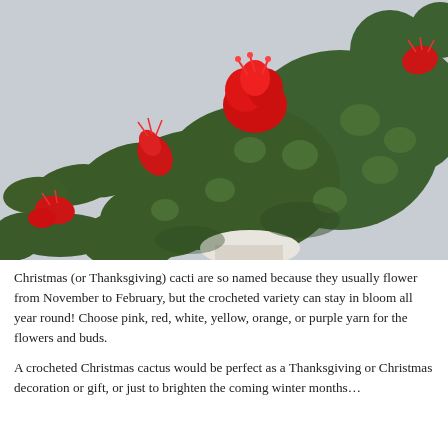[Figure (photo): Close-up photograph of a crocheted Christmas cactus with dark green yarn segments and bright red crocheted flowers/buds, set against a light gray background.]
Christmas (or Thanksgiving) cacti are so named because they usually flower from November to February, but the crocheted variety can stay in bloom all year round! Choose pink, red, white, yellow, orange, or purple yarn for the flowers and buds.
A crocheted Christmas cactus would be perfect as a Thanksgiving or Christmas decoration or gift, or just to brighten the coming winter months…